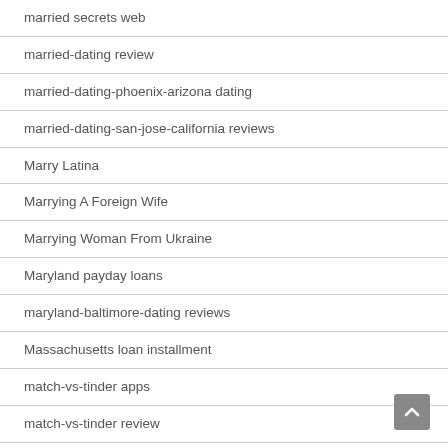married secrets web
married-dating review
married-dating-phoenix-arizona dating
married-dating-san-jose-california reviews
Marry Latina
Marrying A Foreign Wife
Marrying Woman From Ukraine
Maryland payday loans
maryland-baltimore-dating reviews
Massachusetts loan installment
match-vs-tinder apps
match-vs-tinder review
Matchbox review